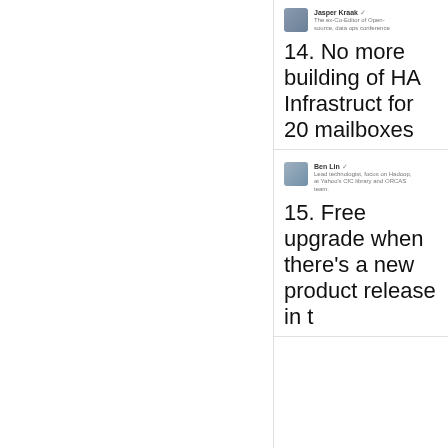[Figure (screenshot): Tweet from Jasper Kraak with avatar and username, partially visible]
14. No more building of HA Infrastructure for 20 mailboxes
[Figure (screenshot): Tweet from Ben Lin with avatar and username, partially visible]
15. Free upgrade when there's a new product release in t...